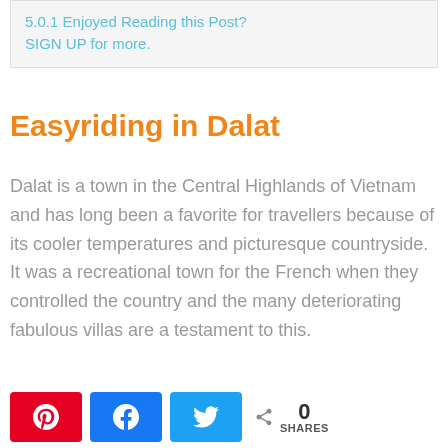5.0.1 Enjoyed Reading this Post? SIGN UP for more.
Easyriding in Dalat
Dalat is a town in the Central Highlands of Vietnam and has long been a favorite for travellers because of its cooler temperatures and picturesque countryside. It was a recreational town for the French when they controlled the country and the many deteriorating fabulous villas are a testament to this.